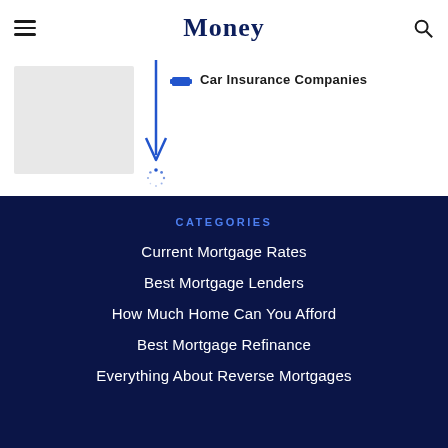Money
Car Insurance Companies
CATEGORIES
Current Mortgage Rates
Best Mortgage Lenders
How Much Home Can You Afford
Best Mortgage Refinance
Everything About Reverse Mortgages